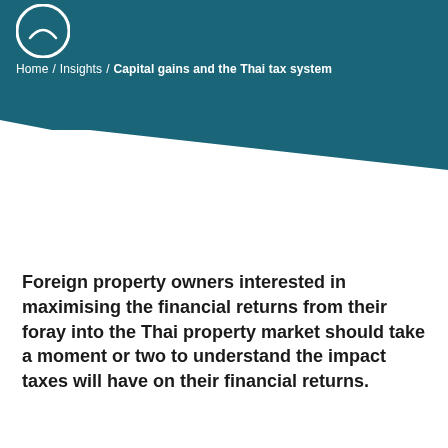Home / Insights / Capital gains and the Thai tax system
Foreign property owners interested in maximising the financial returns from their foray into the Thai property market should take a moment or two to understand the impact taxes will have on their financial returns.